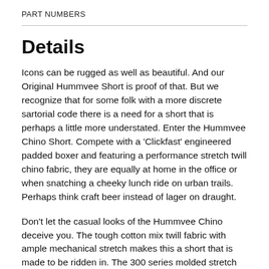PART NUMBERS
Details
Icons can be rugged as well as beautiful. And our Original Hummvee Short is proof of that. But we recognize that for some folk with a more discrete sartorial code there is a need for a short that is perhaps a little more understated. Enter the Hummvee Chino Short. Compete with a 'Clickfast' engineered padded boxer and featuring a performance stretch twill chino fabric, they are equally at home in the office or when snatching a cheeky lunch ride on urban trails. Perhaps think craft beer instead of lager on draught.
Don't let the casual looks of the Hummvee Chino deceive you. The tough cotton mix twill fabric with ample mechanical stretch makes this a short that is made to be ridden in. The 300 series molded stretch pad uses a plush microfibre face fabric for excellent comfort and features an antibacterial and wicking finish. It has a maximum